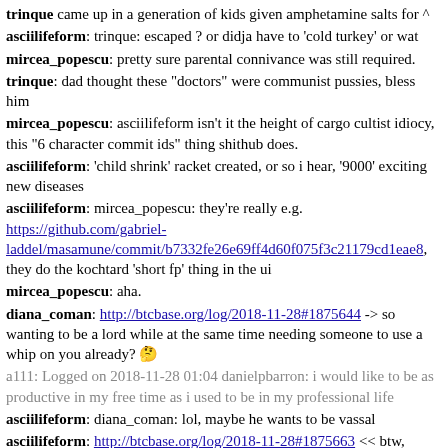trinque came up in a generation of kids given amphetamine salts for ^
asciilifeform: trinque: escaped ? or didja have to 'cold turkey' or wat
mircea_popescu: pretty sure parental connivance was still required.
trinque: dad thought these "doctors" were communist pussies, bless him
mircea_popescu: asciilifeform isn't it the height of cargo cultist idiocy, this "6 character commit ids" thing shithub does.
asciilifeform: 'child shrink' racket created, or so i hear, '9000' exciting new diseases
asciilifeform: mircea_popescu: they're really e.g. https://github.com/gabriel-laddel/masamune/commit/b7332fe26e69ff4d60f075f3c21179cd1eae8 , they do the kochtard 'short fp' thing in the ui
mircea_popescu: aha.
diana_coman: http://btcbase.org/log/2018-11-28#1875644 -> so wanting to be a lord while at the same time needing someone to use a whip on you already? 🤔
a111: Logged on 2018-11-28 01:04 danielpbarron: i would like to be as productive in my free time as i used to be in my professional life
asciilifeform: diana_coman: lol, maybe he wants to be vassal
asciilifeform: http://btcbase.org/log/2018-11-28#1875663 << btw,